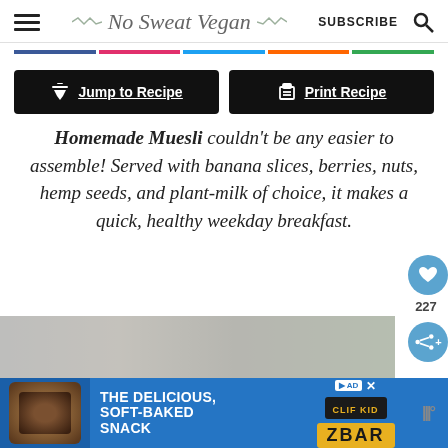No Sweat Vegan — SUBSCRIBE
Jump to Recipe | Print Recipe
Homemade Muesli couldn't be any easier to assemble! Served with banana slices, berries, nuts, hemp seeds, and plant-milk of choice, it makes a quick, healthy weekday breakfast.
[Figure (photo): Blurred photo strip of muesli bowl at bottom of page]
[Figure (infographic): Advertisement banner: THE DELICIOUS, SOFT-BAKED SNACK with CLIF KID Z BAR branding]